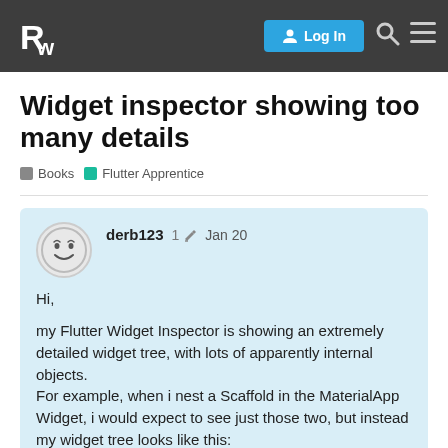Razeware forum header with Log In button, search, and menu icons
Widget inspector showing too many details
Books  Flutter Apprentice
derb123  1  Jan 20
Hi,

my Flutter Widget Inspector is showing an extremely detailed widget tree, with lots of apparently internal objects.
For example, when i nest a Scaffold in the MaterialApp Widget, i would expect to see just those two, but instead my widget tree looks like this:

Fooderlich->MaterialApp->ScrollConfiguration->HeroControllerScope->Focus->_FocusM
And the tree goes on and on.
1 / 4